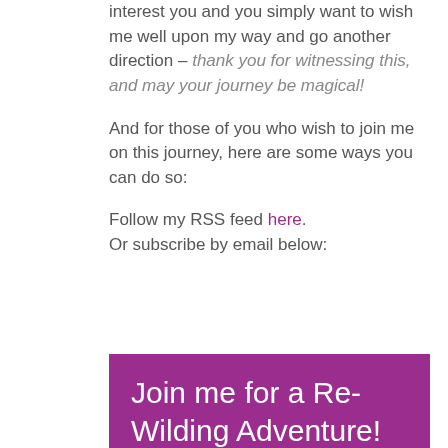interest you and you simply want to wish me well upon my way and go another direction – thank you for witnessing this, and may your journey be magical!

And for those of you who wish to join me on this journey, here are some ways you can do so:

Follow my RSS feed here.
Or subscribe by email below:
Join me for a Re-Wilding Adventure!